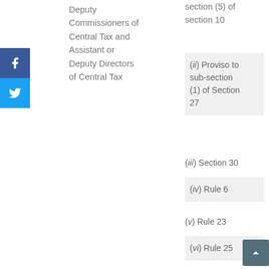Deputy Commissioners of Central Tax and Assistant or Deputy Directors of Central Tax
(ii) Proviso to sub-section (1) of Section 27
(iii) Section 30
(iv) Rule 6
(v) Rule 23
(vi) Rule 25